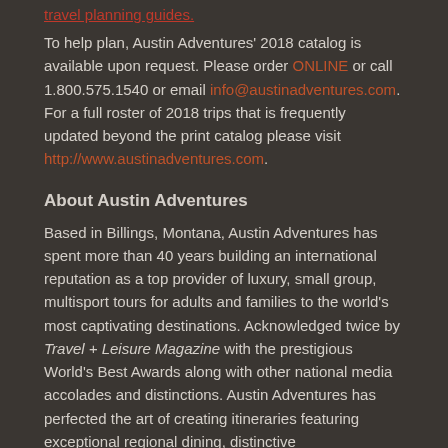travel planning guides.
To help plan, Austin Adventures' 2018 catalog is available upon request. Please order ONLINE or call 1.800.575.1540 or email info@austinadventures.com. For a full roster of 2018 trips that is frequently updated beyond the print catalog please visit http://www.austinadventures.com.
About Austin Adventures
Based in Billings, Montana, Austin Adventures has spent more than 40 years building an international reputation as a top provider of luxury, small group, multisport tours for adults and families to the world's most captivating destinations. Acknowledged twice by Travel + Leisure Magazine with the prestigious World's Best Awards along with other national media accolades and distinctions. Austin Adventures has perfected the art of creating itineraries featuring exceptional regional dining, distinctive accommodations, incredible guides and